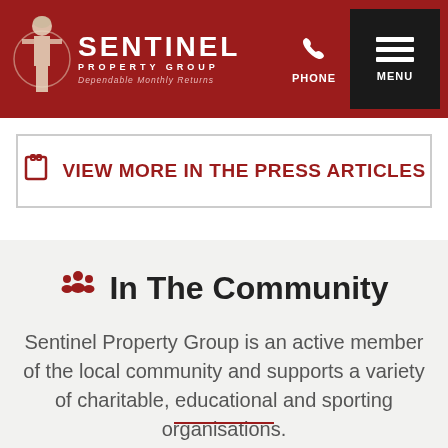SENTINEL PROPERTY GROUP - Dependable Monthly Returns | PHONE | MENU
VIEW MORE IN THE PRESS ARTICLES
In The Community
Sentinel Property Group is an active member of the local community and supports a variety of charitable, educational and sporting organisations.